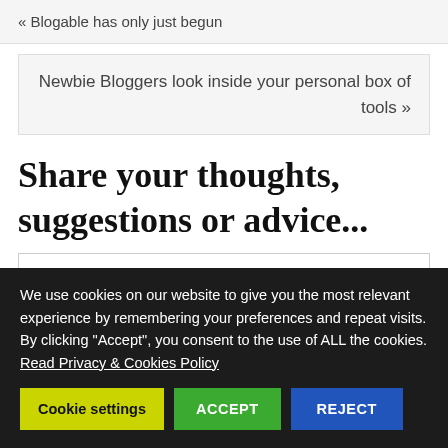« Blogable has only just begun
Newbie Bloggers look inside your personal box of tools »
Share your thoughts, suggestions or advice...
We use cookies on our website to give you the most relevant experience by remembering your preferences and repeat visits. By clicking "Accept", you consent to the use of ALL the cookies. Read Privacy & Cookies Policy
Cookie settings | ACCEPT | REJECT